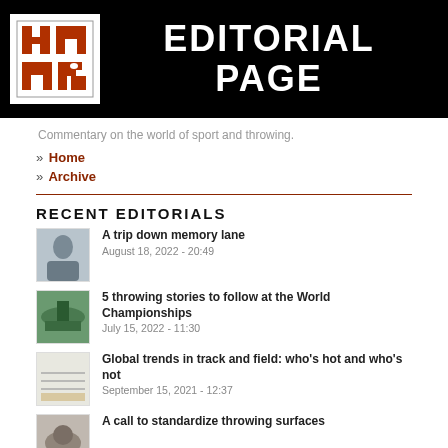[Figure (logo): HMMR Editorial Page banner with logo on black background]
Commentary on the world of sport and throwing.
» Home
» Archive
RECENT EDITORIALS
A trip down memory lane
August 18, 2022 - 20:49
5 throwing stories to follow at the World Championships
July 15, 2022 - 11:30
Global trends in track and field: who's hot and who's not
September 15, 2021 - 12:37
A call to standardize throwing surfaces